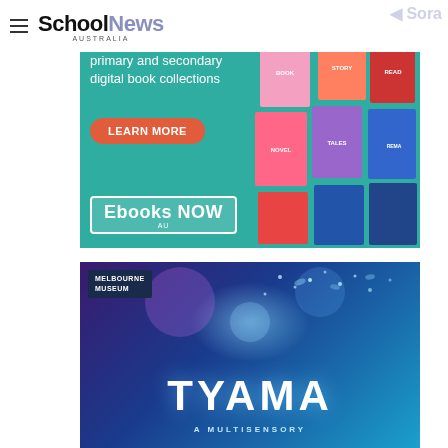SchoolNews AUSTRALIA
[Figure (advertisement): Ebooks NOW AU advertisement banner for primary and secondary digital book collections with a teal background, book cover collage on the right, orange LEARN MORE button, and Ebooks NOW AU logo box at bottom left. Sora branding visible.]
[Figure (advertisement): Melbourne Museum TYAMA multisensory exhibition advertisement with dark blue/purple cosmic background, butterfly/light particles, white TYAMA title text, and A MULTISENSORY subtitle at bottom.]